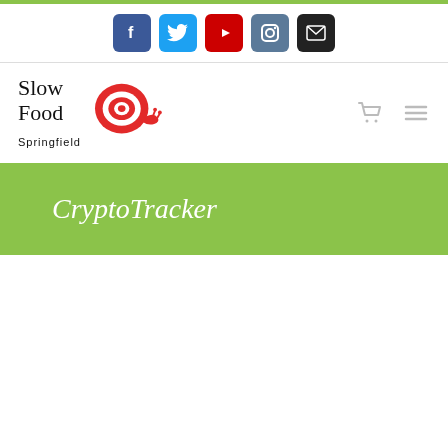[Figure (infographic): Social media icon buttons: Facebook (blue), Twitter (light blue), YouTube (red), Instagram (steel blue), Email (black), displayed in a row]
[Figure (logo): Slow Food Springfield logo: serif text 'Slow Food Springfield' with a red snail spiral illustration]
CryptoTracker